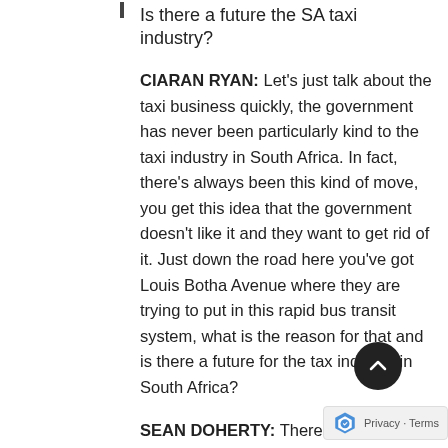Is there a future the SA taxi industry?
CIARAN RYAN: Let's just talk about the taxi business quickly, the government has never been particularly kind to the taxi industry in South Africa. In fact, there's always been this kind of move, you get this idea that the government doesn't like it and they want to get rid of it. Just down the road here you've got Louis Botha Avenue where they are trying to put in this rapid bus transit system, what is the reason for that and is there a future for the tax industry in South Africa?
SEAN DOHERTY: There are historic reasons, if I look all the way back to